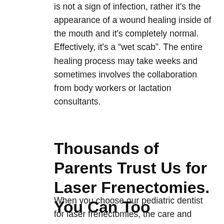is not a sign of infection, rather it's the appearance of a wound healing inside of the mouth and it's completely normal. Effectively, it's a “wet scab”. The entire healing process may take weeks and sometimes involves the collaboration from body workers or lactation consultants.
Thousands of Parents Trust Us for Laser Frenectomies. You Can Too
When you choose our pediatric dentist for laser frenectomies, the care and attention we provide for your child do not end after you leave our